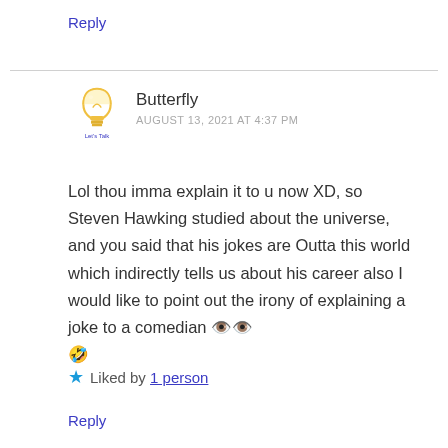Reply
[Figure (illustration): Light bulb avatar icon with 'Let's Talk' text below, representing user Butterfly]
Butterfly
AUGUST 13, 2021 AT 4:37 PM
Lol thou imma explain it to u now XD, so Steven Hawking studied about the universe, and you said that his jokes are Outta this world which indirectly tells us about his career also I would like to point out the irony of explaining a joke to a comedian 👀🤣
Liked by 1 person
Reply